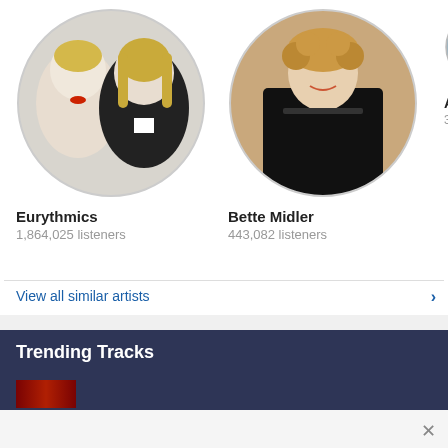[Figure (photo): Circular photo of Eurythmics duo - woman with short blonde hair and red lips, man with long blonde hair, both in black]
Eurythmics
1,864,025 listeners
[Figure (photo): Circular photo of Bette Midler in black dress against beige background]
Bette Midler
443,082 listeners
[Figure (photo): Partially visible circular photo of third artist (Alis...)]
Alis
336,9
View all similar artists
Trending Tracks
[Figure (photo): Small thumbnail image for a trending track, dark image with red elements]